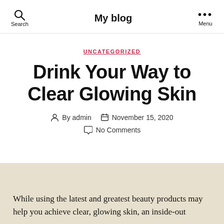My blog
UNCATEGORIZED
Drink Your Way to Clear Glowing Skin
By admin  November 15, 2020  No Comments
While using the latest and greatest beauty products may help you achieve clear, glowing skin, an inside-out